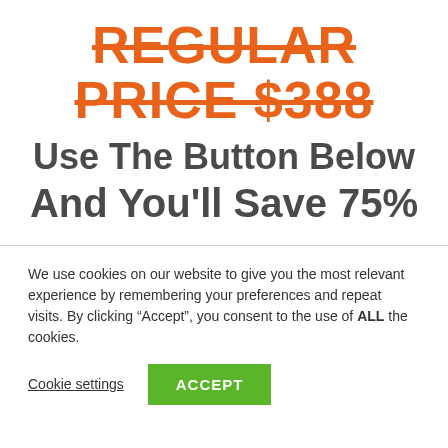REGULAR PRICE $388
Use The Button Below
And You'll Save 75%
We use cookies on our website to give you the most relevant experience by remembering your preferences and repeat visits. By clicking “Accept”, you consent to the use of ALL the cookies.
Cookie settings | ACCEPT